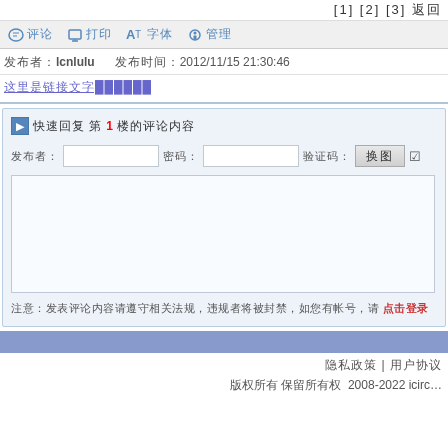[1] [2] [3] 返回
工具栏: 评论 打印 字体 管理
发布者: lcnlulu  发布时间: 2012/11/15 21:30:46
这里是链接文字（紫色下划线）
快速回复 第1楼的评论内容
发布者: [input] 密码: [input] 验证码: [button: 换图] [checkmark]
（文本输入区域）
注意：发表评论内容请遵守相关法规，违规者将被封禁 点击登录
隐私政策 | 用户协议
版权所有 保留所有权 2008-2022 icirc...